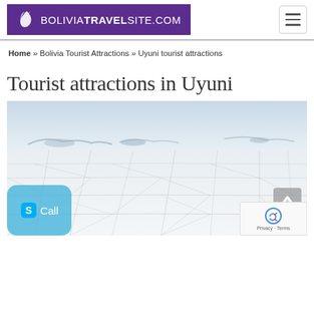BOLIVIATRAVELSITE.COM
Home » Bolivia Tourist Attractions » Uyuni tourist attractions
Tourist attractions in Uyuni
[Figure (photo): Wide panoramic view of the Uyuni salt flats (Salar de Uyuni) in Bolivia. The foreground shows the cracked white salt surface with large polygonal patterns. The background shows a pale blue sky and distant mountains/islands on the horizon. Overlaid elements include a Skype Call button (bottom left), a scroll-to-top arrow (bottom right), and a reCAPTCHA privacy badge (bottom right corner).]